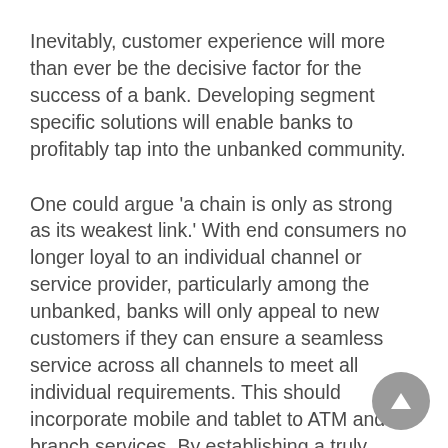Inevitably, customer experience will more than ever be the decisive factor for the success of a bank. Developing segment specific solutions will enable banks to profitably tap into the unbanked community.
One could argue 'a chain is only as strong as its weakest link.' With end consumers no longer loyal to an individual channel or service provider, particularly among the unbanked, banks will only appeal to new customers if they can ensure a seamless service across all channels to meet all individual requirements. This should incorporate mobile and tablet to ATM and in-branch services. By establishing a truly omnichannel service, banks